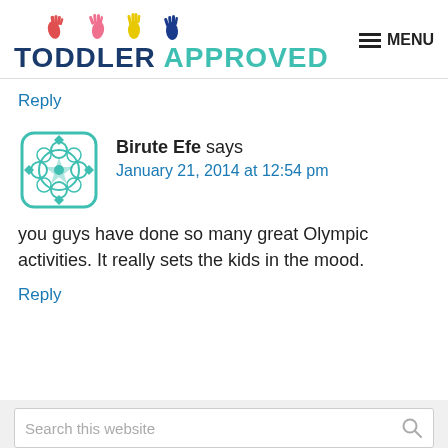[Figure (logo): Toddler Approved website logo with colorful hand icons and bold text 'TODDLER APPROVED']
Reply
Birute Efe says
January 21, 2014 at 12:54 pm
you guys have done so many great Olympic activities. It really sets the kids in the mood.
Reply
Search this website